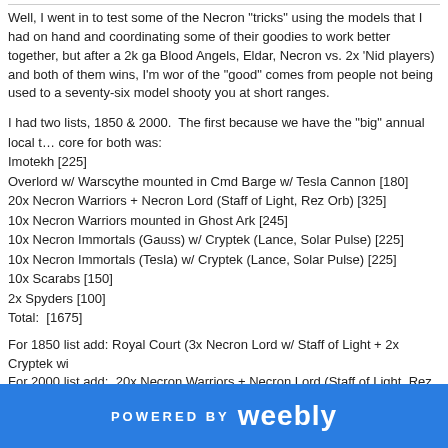Well, I went in to test some of the Necron "tricks" using the models that I had on hand and coordinating some of their goodies to work better together, but after a 2k game (Blood Angels, Eldar, Necron vs. 2x 'Nid players) and both of them wins, I'm worried some of the "good" comes from people not being used to a seventy-six model shooty army hitting you at short ranges.
I had two lists, 1850 & 2000. The first because we have the "big" annual local t… core for both was:
Imotekh [225]
Overlord w/ Warscythe mounted in Cmd Barge w/ Tesla Cannon [180]
20x Necron Warriors + Necron Lord (Staff of Light, Rez Orb) [325]
10x Necron Warriors mounted in Ghost Ark [245]
10x Necron Immortals (Gauss) w/ Cryptek (Lance, Solar Pulse) [225]
10x Necron Immortals (Tesla) w/ Cryptek (Lance, Solar Pulse) [225]
10x Scarabs [150]
2x Spyders [100]
Total: [1675]
For 1850 list add: Royal Court (3x Necron Lord w/ Staff of Light + 2x Cryptek wi…
For 2000 list add: 20x Necron Warriors + Necron Lord (Staff of Light, Rez Orb)…
POWERED BY weebly